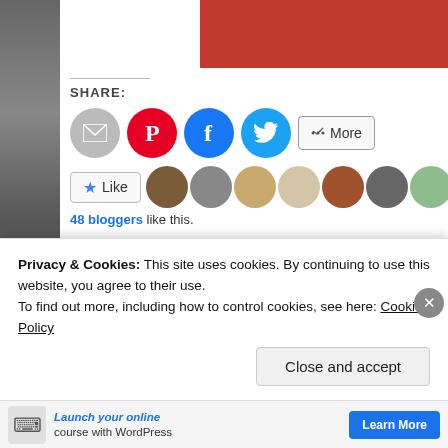[Figure (screenshot): Red header bar at top right of webpage]
SHARE:
[Figure (screenshot): Share buttons: email (grey circle), Pinterest (red circle), Facebook (blue circle), Twitter (light blue circle), More button]
[Figure (screenshot): Like button with star icon and row of 10+ blogger avatar thumbnails]
48 bloggers like this.
43 THOUGHTS ON "ABOUT"
[Figure (photo): Commenter avatar - woman with dark hair, circular profile photo]
susannye
Privacy & Cookies: This site uses cookies. By continuing to use this website, you agree to their use.
To find out more, including how to control cookies, see here: Cookie Policy
Close and accept